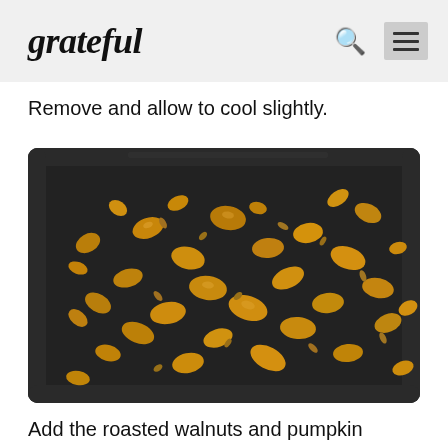grateful
Remove and allow to cool slightly.
[Figure (photo): Roasted walnuts and pumpkin seeds spread out on a black baking tray, viewed from above at an angle.]
Add the roasted walnuts and pumpkin seeds to a